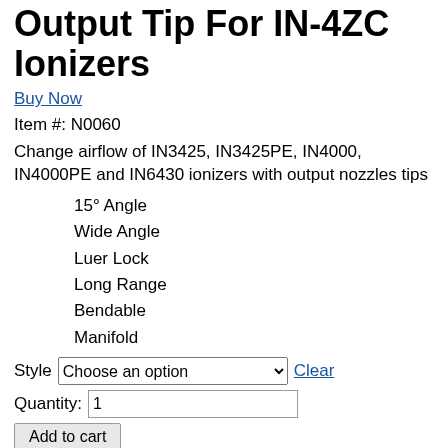Output Tip For IN-4ZC Ionizers
Buy Now
Item #: N0060
Change airflow of IN3425, IN3425PE, IN4000, IN4000PE and IN6430 ionizers with output nozzles tips
15° Angle
Wide Angle
Luer Lock
Long Range
Bendable
Manifold
Style [Choose an option dropdown] Clear
Quantity: 1
Add to cart
Add to quote
Categories: ESD Ionizers, Ionizing Nozzles, Ionizing Guns, Airflex Ionizers
Data Sheet